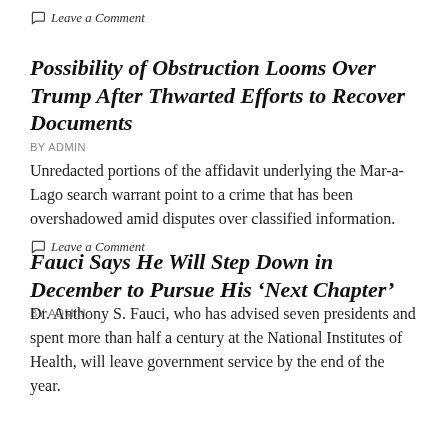Leave a Comment
Possibility of Obstruction Looms Over Trump After Thwarted Efforts to Recover Documents
BY ADMIN
Unredacted portions of the affidavit underlying the Mar-a-Lago search warrant point to a crime that has been overshadowed amid disputes over classified information.
Leave a Comment
Fauci Says He Will Step Down in December to Pursue His ‘Next Chapter’
BY ADMIN
Dr. Anthony S. Fauci, who has advised seven presidents and spent more than half a century at the National Institutes of Health, will leave government service by the end of the year.